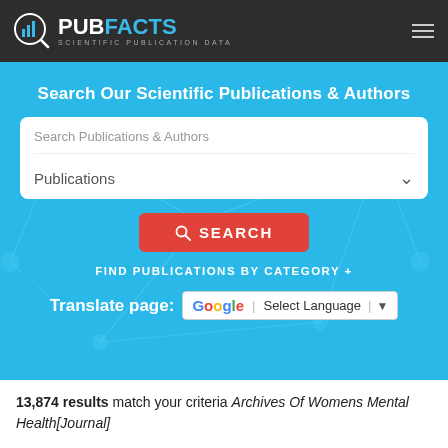[Figure (logo): PubFacts logo with magnifying glass icon, 'PUB' in white and 'FACTS' in blue, subtitle 'SCIENTIFIC PUBLICATION DATA']
Search Our Scientific Publications & Authors
Search Publications & Authors
Publications
SEARCH
FIND PUBLICATIONS BY CATEGORY +
Translate page: Select Language
13,874 results match your criteria Archives Of Womens Mental Health[Journal]